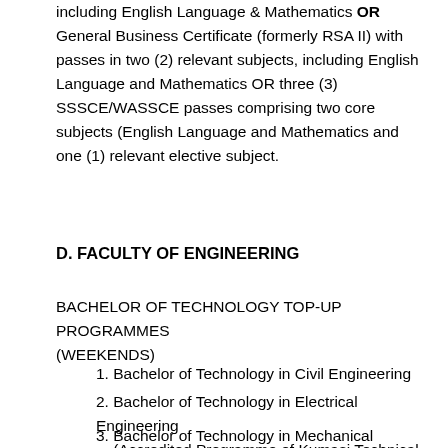including English Language & Mathematics OR General Business Certificate (formerly RSA II) with passes in two (2) relevant subjects, including English Language and Mathematics OR three (3) SSSCE/WASSCE passes comprising two core subjects (English Language and Mathematics and one (1) relevant elective subject.
D. FACULTY OF ENGINEERING
BACHELOR OF TECHNOLOGY TOP-UP PROGRAMMES (WEEKENDS)
1. Bachelor of Technology in Civil Engineering
2. Bachelor of Technology in Electrical Engineering (Accredited Programme of Kumasi Technical University)
3. Bachelor of Technology in Mechanical Engineering
Plant and Production Option (Accredited